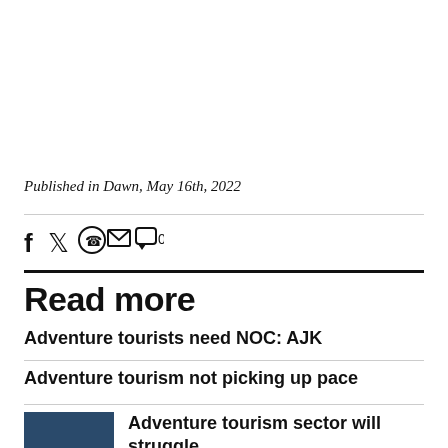Published in Dawn, May 16th, 2022
[Figure (other): Social sharing icons: Facebook, Twitter, WhatsApp, Email, Comment (0)]
Read more
Adventure tourists need NOC: AJK
Adventure tourism not picking up pace
Adventure tourism sector will struggle